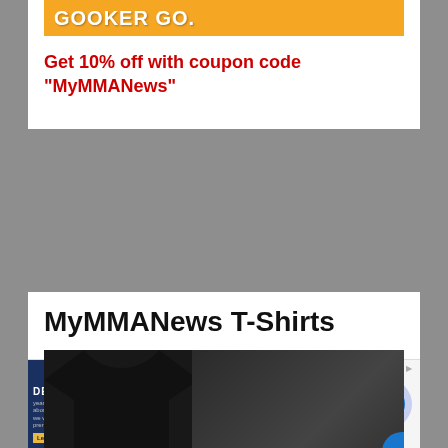[Figure (screenshot): Orange promotional banner with text 'GOOKER GO.']
Get 10% off with coupon code "MyMMANews"
MyMMANews T-Shirts
[Figure (screenshot): Black t-shirt partially visible on left, overlaid with video player showing two men face to face with green caption text: "AFTER I KNOCK YOU OUT M GONNA F**K YOUR DOG" and subtitle "After I knock you out, I'm"]
[Figure (screenshot): Advertisement banner: Dickies® | Official Site | Workwear & Apparel, for work pants, work shirts, overalls, and coveralls. www.dickies.com]